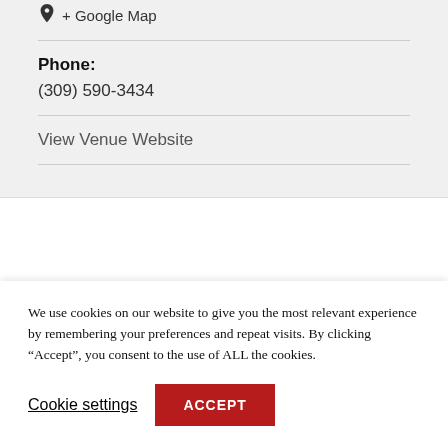Bloomington, IL 61701 United States
+ Google Map
Phone:
(309) 590-3434
View Venue Website
We use cookies on our website to give you the most relevant experience by remembering your preferences and repeat visits. By clicking “Accept”, you consent to the use of ALL the cookies.
Cookie settings
ACCEPT